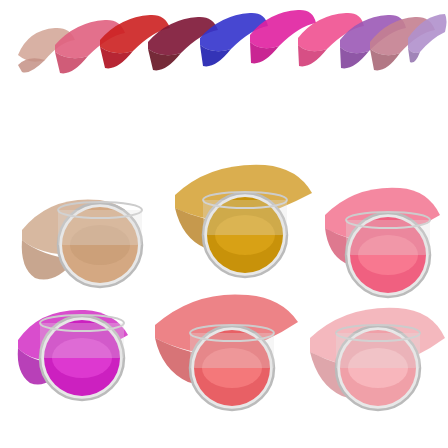[Figure (photo): Cosmetics product photo showing lip color swatches and cream blush/lip product jars. Top portion shows 12 curved lipstick swatches in various shades including nude, red, burgundy, blue, pink, magenta, coral, purple, mauve, and lavender arranged in a row. Bottom portion shows 6 open glass jars of cream makeup (blush/lip products) in taupe/nude, golden/yellow, hot pink, magenta/purple, coral/salmon, and pale pink shades, each accompanied by a corresponding cream swatch smear on a white background.]